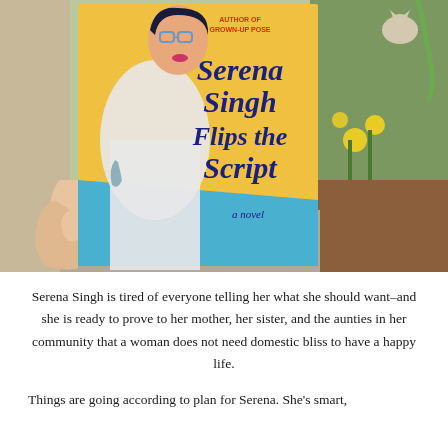[Figure (photo): A hand holding the book 'Serena Singh Flips the Script' – a novel by the author of Grown-Up Pose. The book cover features an illustrated woman with glasses, dark hair, a white coat and tattoos, on a yellow background with blue script title text. The background shows an outdoor garden setting with plants and mulch.]
Serena Singh is tired of everyone telling her what she should want–and she is ready to prove to her mother, her sister, and the aunties in her community that a woman does not need domestic bliss to have a happy life.
Things are going according to plan for Serena. She's smart,